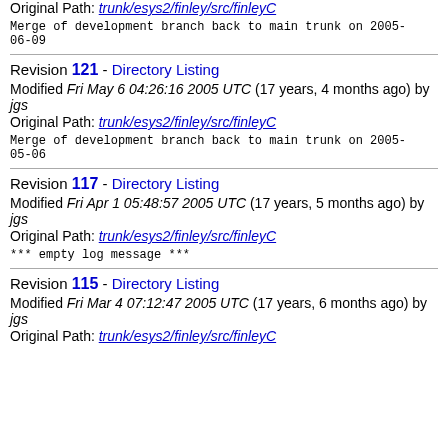Original Path: trunk/esys2/finley/src/finleyC
Merge of development branch back to main trunk on 2005-06-09
Revision 121 - Directory Listing
Modified Fri May 6 04:26:16 2005 UTC (17 years, 4 months ago) by jgs
Original Path: trunk/esys2/finley/src/finleyC
Merge of development branch back to main trunk on 2005-05-06
Revision 117 - Directory Listing
Modified Fri Apr 1 05:48:57 2005 UTC (17 years, 5 months ago) by jgs
Original Path: trunk/esys2/finley/src/finleyC
*** empty log message ***
Revision 115 - Directory Listing
Modified Fri Mar 4 07:12:47 2005 UTC (17 years, 6 months ago) by jgs
Original Path: trunk/esys2/finley/src/finleyC